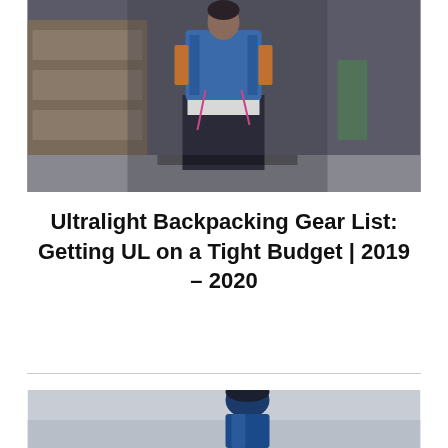[Figure (photo): Person viewed from behind wearing a large blue backpack, standing at a train platform. The person is wearing jeans and a white shirt under the pack. A train is visible on the left side.]
Ultralight Backpacking Gear List: Getting UL on a Tight Budget | 2019 – 2020
[Figure (photo): Person wearing a blue jacket and dark winter hat, sitting or standing, viewed from behind or side against a misty light grey sky background.]